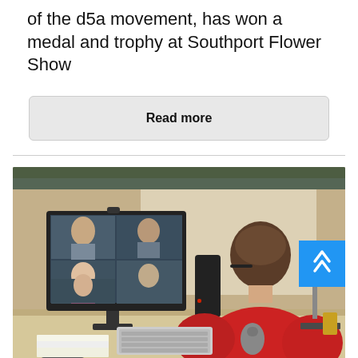of the d5a movement, has won a medal and trophy at Southport Flower Show
Read more
[Figure (photo): Person wearing red sweater and glasses sitting at a desk, viewing a video conference call on a computer monitor showing multiple participants. A speaker and other desk items are visible. A blue back-to-top button with double chevrons is overlaid in the upper right of the image.]